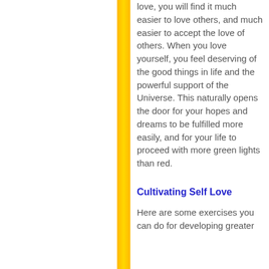love, you will find it much easier to love others, and much easier to accept the love of others. When you love yourself, you feel deserving of the good things in life and the powerful support of the Universe. This naturally opens the door for your hopes and dreams to be fulfilled more easily, and for your life to proceed with more green lights than red.
Cultivating Self Love
Here are some exercises you can do for developing greater